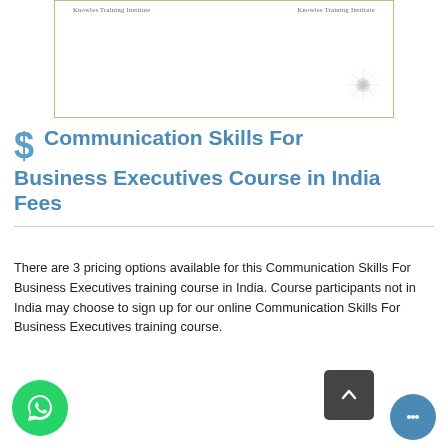[Figure (illustration): Certificate preview image showing 'Knowles Training Institute' text on two columns with a decorative border and starburst watermark in bottom right corner]
$ Communication Skills For Business Executives Course in India Fees
There are 3 pricing options available for this Communication Skills For Business Executives training course in India. Course participants not in India may choose to sign up for our online Communication Skills For Business Executives training course.